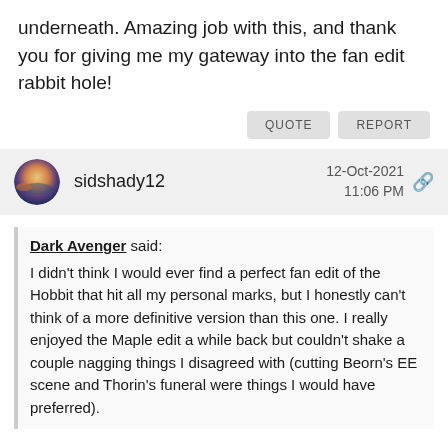underneath. Amazing job with this, and thank you for giving me my gateway into the fan edit rabbit hole!
QUOTE   REPORT
sidshady12   12-Oct-2021 11:06 PM
Dark Avenger said: I didn't think I would ever find a perfect fan edit of the Hobbit that hit all my personal marks, but I honestly can't think of a more definitive version than this one. I really enjoyed the Maple edit a while back but couldn't shake a couple nagging things I disagreed with (cutting Beorn's EE scene and Thorin's funeral were things I would have preferred).
Your M4 edit has truly become my go-to version of these movies. I always enjoyed the Hobbit trilogy, more than the average person I would guess, but I saw them as heavily